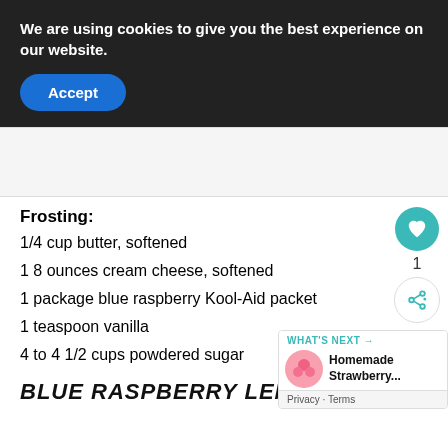We are using cookies to give you the best experience on our website.
Accept
1/4 cup butter, softened
1 8 ounces cream cheese, softened
1 package blue raspberry Kool-Aid packet
1 teaspoon vanilla
4 to 4 1/2 cups powdered sugar
Frosting:
BLUE RASPBERRY LEMONADE CU...
WHAT'S NEXT → Homemade Strawberry... Privacy · Terms